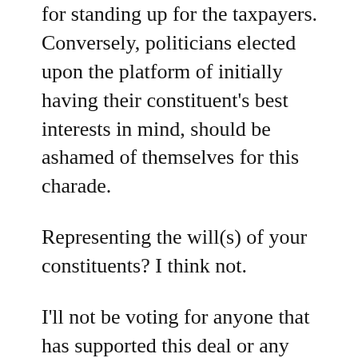for standing up for the taxpayers. Conversely, politicians elected upon the platform of initially having their constituent's best interests in mind, should be ashamed of themselves for this charade.
Representing the will(s) of your constituents? I think not.
I'll not be voting for anyone that has supported this deal or any “career” politicians running in the upcoming election. Remember Indian Springs and the bargain basement $750,000 deal for Lane4 Developers? How long before the UG attempts to sell the stadium to some other investor for a greatly reduced price, after it’s been subsidized by the taxpayers and for…